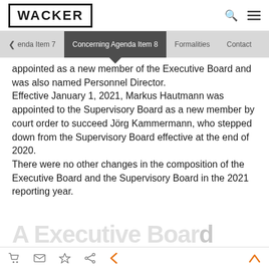WACKER
Concerning Agenda Item 8
appointed as a new member of the Executive Board and was also named Personnel Director.
Effective January 1, 2021, Markus Hautmann was appointed to the Supervisory Board as a new member by court order to succeed Jörg Kammermann, who stepped down from the Supervisory Board effective at the end of 2020.
There were no other changes in the composition of the Executive Board and the Supervisory Board in the 2021 reporting year.
A Executive Board